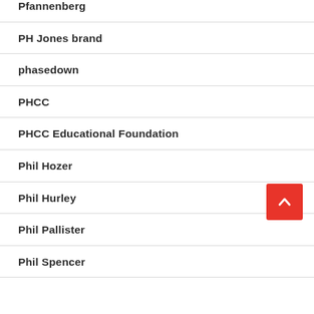Pfannenberg
PH Jones brand
phasedown
PHCC
PHCC Educational Foundation
Phil Hozer
Phil Hurley
Phil Pallister
Phil Spencer